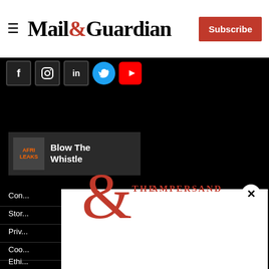Mail & Guardian — Subscribe
[Figure (screenshot): Social media icons bar: Facebook, Instagram, LinkedIn, Twitter, YouTube on black background]
[Figure (logo): Blow The Whistle widget with AfriLeaks logo and text]
Con...
Stor...
Priv...
Coo...
Ethi...
Abo...
Corr...
Adve...
Term...
[Figure (logo): The Ampersand logo — large red ampersand with 'THE AMPERSAND' text in red serif capitals]
Stay informed. Every weekday.
E-mail Address
Signup now